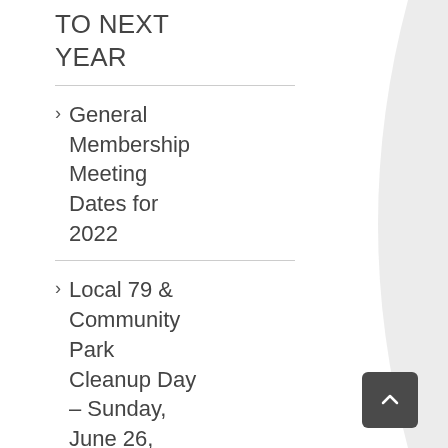TO NEXT YEAR
General Membership Meeting Dates for 2022
Local 79 & Community Park Cleanup Day – Sunday, June 26,